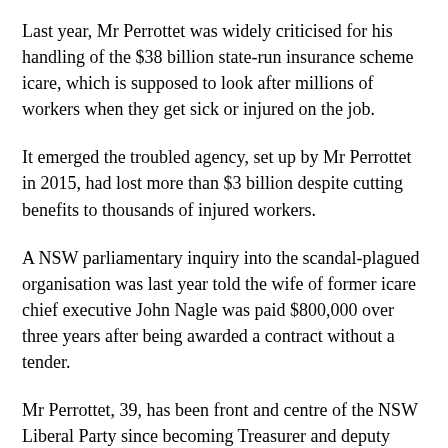Last year, Mr Perrottet was widely criticised for his handling of the $38 billion state-run insurance scheme icare, which is supposed to look after millions of workers when they get sick or injured on the job.
It emerged the troubled agency, set up by Mr Perrottet in 2015, had lost more than $3 billion despite cutting benefits to thousands of injured workers.
A NSW parliamentary inquiry into the scandal-plagued organisation was last year told the wife of former icare chief executive John Nagle was paid $800,000 over three years after being awarded a contract without a tender.
Mr Perrottet, 39, has been front and centre of the NSW Liberal Party since becoming Treasurer and deputy leader in 2017.
He is part of the Liberals' right faction which is considered less dominant in NSW.
This may mean he faces more challenges in parliament than